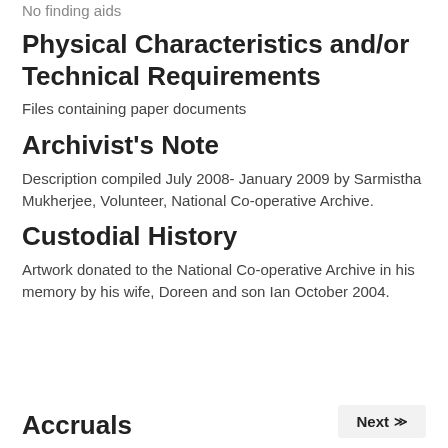No finding aids
Physical Characteristics and/or Technical Requirements
Files containing paper documents
Archivist's Note
Description compiled July 2008- January 2009 by Sarmistha Mukherjee, Volunteer, National Co-operative Archive.
Custodial History
Artwork donated to the National Co-operative Archive in his memory by his wife, Doreen and son Ian October 2004.
Accruals